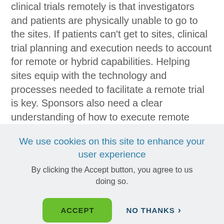clinical trials remotely is that investigators and patients are physically unable to go to the sites. If patients can't get to sites, clinical trial planning and execution needs to account for remote or hybrid capabilities. Helping sites equip with the technology and processes needed to facilitate a remote trial is key. Sponsors also need a clear understanding of how to execute remote trials and virtual visits going into 2021, and should ensure they have the expertise...
We use cookies on this site to enhance your user experience
By clicking the Accept button, you agree to us doing so.
ACCEPT
NO THANKS >